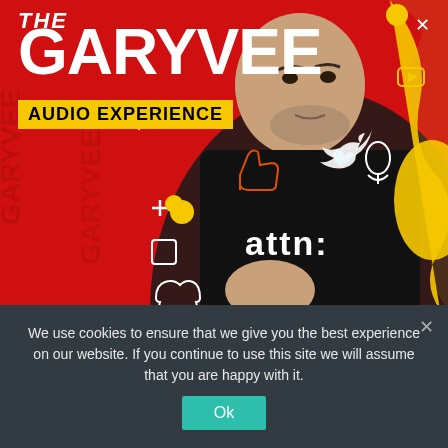[Figure (illustration): GaryVee Audio Experience podcast cover art. Red background with social media icons (Twitter bird, microphone, thumbs up, Snapchat ghost, Instagram camera, headphones, speech bubble, plus sign, YouTube icon, heart). Large white bold text reads 'THE GARYVEE' at top left. Yellow banner with black text 'AUDIO EXPERIENCE'. A man wearing a black sweatshirt with 'attn:' text stands in the foreground. Yellow circles scattered as decoration. X close icon top right.]
We use cookies to ensure that we give you the best experience on our website. If you continue to use this site we will assume that you are happy with it.